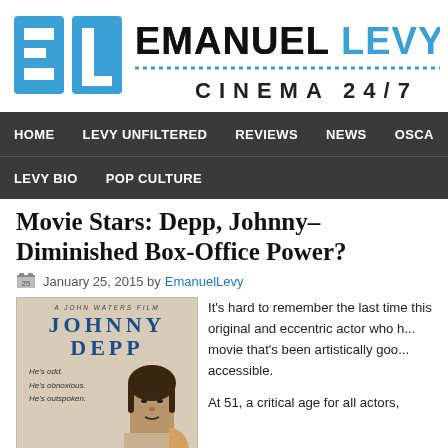[Figure (logo): Emanuel Levy Cinema 24/7 logo with blue EL letters and black/blue text]
HOME   LEVY UNFILTERED   REVIEWS   NEWS   OSCA...   LEVY BIO   POP CULTURE
Movie Stars: Depp, Johnny–Diminished Box-Office Power?
January 25, 2015 by EmanuelLevy
[Figure (photo): Movie poster for a John Waters film featuring Johnny Depp, with his name in large blue letters]
It's hard to remember the last time this original and eccentric actor who h... movie that's been artistically goo... accessible.
At 51, a critical age for all actors,